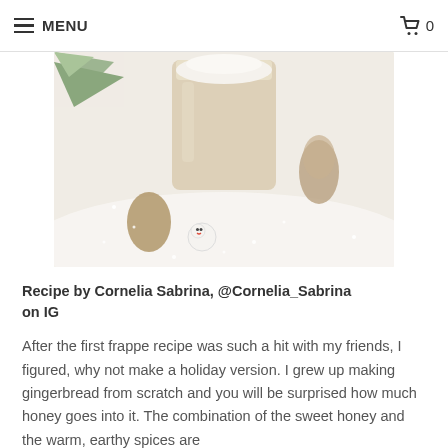≡ MENU   🛒 0
[Figure (photo): A holiday frappe drink in a beige cup topped with whipped cream, surrounded by pine cones, pine branches, a snowman ornament, and artificial snow on a white surface.]
Recipe by Cornelia Sabrina, @Cornelia_Sabrina on IG
After the first frappe recipe was such a hit with my friends, I figured, why not make a holiday version. I grew up making gingerbread from scratch and you will be surprised how much honey goes into it. The combination of the sweet honey and the warm, earthy spices are